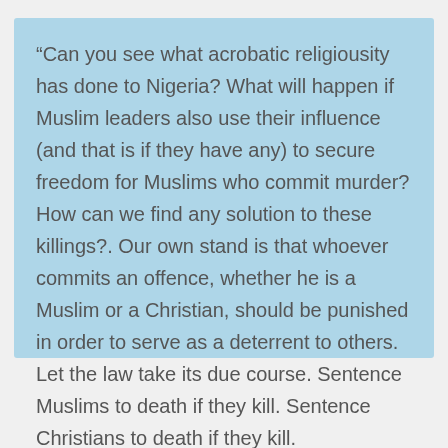“Can you see what acrobatic religiousity has done to Nigeria? What will happen if Muslim leaders also use their influence (and that is if they have any) to secure freedom for Muslims who commit murder? How can we find any solution to these killings?. Our own stand is that whoever commits an offence, whether he is a Muslim or a Christian, should be punished in order to serve as a deterrent to others. Let the law take its due course. Sentence Muslims to death if they kill. Sentence Christians to death if they kill.